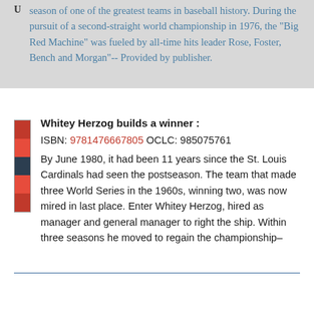season of one of the greatest teams in baseball history. During the pursuit of a second-straight world championship in 1976, the "Big Red Machine" was fueled by all-time hits leader Rose, Foster, Bench and Morgan"-- Provided by publisher.
Whitey Herzog builds a winner :
ISBN: 9781476667805 OCLC: 985075761
By June 1980, it had been 11 years since the St. Louis Cardinals had seen the postseason. The team that made three World Series in the 1960s, winning two, was now mired in last place. Enter Whitey Herzog, hired as manager and general manager to right the ship. Within three seasons he moved to regain the championship–